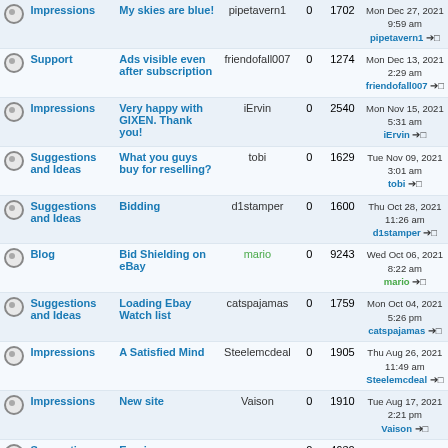|  | Category | Topic | Author | Replies | Views | Last Post |
| --- | --- | --- | --- | --- | --- | --- |
|  | Impressions | My skies are blue! | pipetavern1 | 0 | 1702 | Mon Dec 27, 2021 9:59 am pipetavern1 → |
|  | Support | Ads visible even after subscription | friendofall007 | 0 | 1274 | Mon Dec 13, 2021 2:29 am friendofall007 → |
|  | Impressions | Very happy with GIXEN. Thank you! | iErvin | 0 | 2540 | Mon Nov 15, 2021 5:31 am iErvin → |
|  | Suggestions and Ideas | What you guys buy for reselling? | tobi | 0 | 1629 | Tue Nov 09, 2021 3:01 am tobi → |
|  | Suggestions and Ideas | Bidding | d1stamper | 0 | 1600 | Thu Oct 28, 2021 11:26 am d1stamper → |
|  | Blog | Bid Shielding on eBay | mario | 0 | 9243 | Wed Oct 06, 2021 8:22 am mario → |
|  | Suggestions and Ideas | Loading Ebay Watch list | catspajamas | 0 | 1759 | Mon Oct 04, 2021 5:26 pm catspajamas → |
|  | Impressions | A Satisfied Mind | Steelemcdeal | 0 | 1905 | Thu Aug 26, 2021 11:49 am Steelemcdeal → |
|  | Impressions | New site | Vaison | 0 | 1910 | Tue Aug 17, 2021 2:21 pm Vaison → |
|  | Suggestions and Ideas | Enering many items - slow DB and broken links | greg | 0 | 4630 | Mon Aug 16, 2021 1:11 am greg → |
|  | Impressions | Happiest "delete" (a better deal showed up) | gabriel241 | 0 | 2240 | Sat Aug 07, 2021 12:16 am gabriel241 → |
|  | Support | Cannot log in = interrupted by "dashlane" | HansB | 0 | 1686 | Sat Jul 24, 2021 5:35 am HansB → |
|  | Suggestions and Ideas | Import Watchlist | cheeko111 | 0 | 2709 | Thu Mar 18, 2021 2:11 pm cheeko111 → |